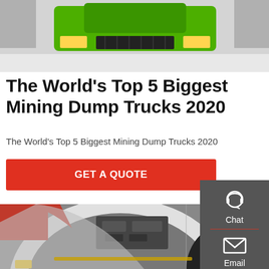[Figure (photo): Top photo showing front view of a green mining dump truck on a white floor in an exhibition hall]
The World's Top 5 Biggest Mining Dump Trucks 2020
The World's Top 5 Biggest Mining Dump Trucks 2020
GET A QUOTE
[Figure (photo): Close-up photo of a large red/white mining dump truck wheel arch area showing engine components and machinery underneath]
[Figure (infographic): Sidebar with Chat, Email, and Contact icons on a dark grey background]